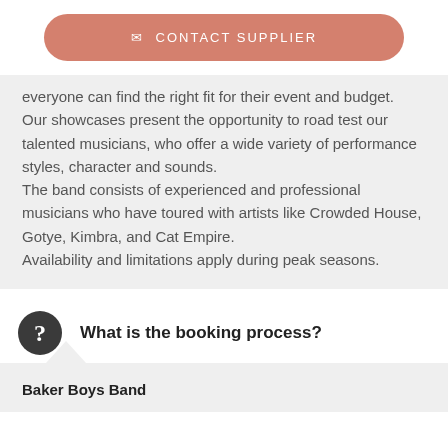[Figure (other): Contact Supplier button with envelope icon, salmon/rose color with rounded corners]
everyone can find the right fit for their event and budget.
Our showcases present the opportunity to road test our talented musicians, who offer a wide variety of performance styles, character and sounds.
The band consists of experienced and professional musicians who have toured with artists like Crowded House, Gotye, Kimbra, and Cat Empire.
Availability and limitations apply during peak seasons.
What is the booking process?
Baker Boys Band